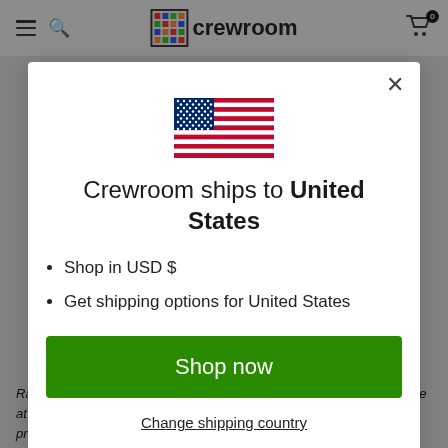crewroom navigation bar with hamburger, search, logo, and cart
[Figure (screenshot): Crewroom website modal overlay showing a geo-redirect dialog for United States shipping, with a US flag, text, list items, shop now button, and change shipping country link]
Crewroom ships to United States
Shop in USD $
Get shipping options for United States
Shop now
Change shipping country
Racing is due to start at 2:30pm, with the victory ceremony taking place at 6:45pm in front of Thames Rowing Club, where the prizes will be presented by 2012 Olympic champion, Sophie